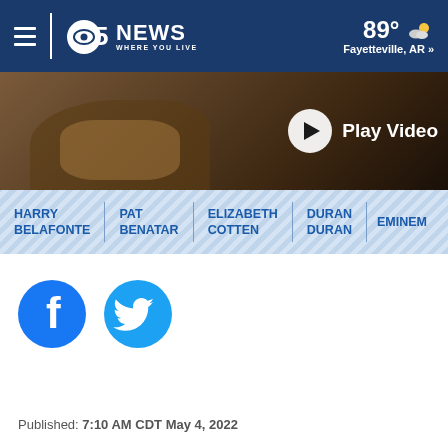5NEWS WHERE YOU LIVE | 89° Fayetteville, AR »
[Figure (screenshot): Video thumbnail showing hands playing a stringed instrument, with a Play Video button overlay]
HARRY BELAFONTE | PAT BENATAR | ELIZABETH COTTEN | DURAN DURAN | EMINEM
[Figure (logo): Facebook circular icon (blue)]
[Figure (logo): Twitter circular icon (blue)]
Published: 7:10 AM CDT May 4, 2022